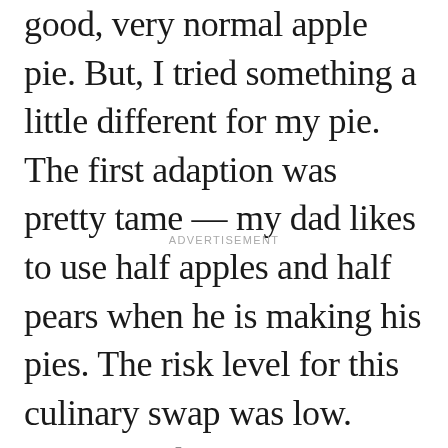good, very normal apple pie. But, I tried something a little different for my pie. The first adaption was pretty tame — my dad likes to use half apples and half pears when he is making his pies. The risk level for this culinary swap was low. Apples and pears are basically the same thing, right?
ADVERTISEMENT